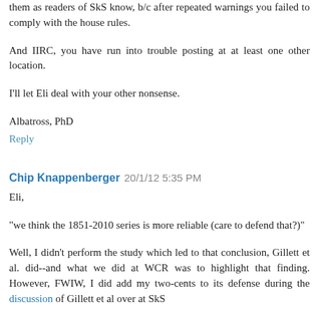them as readers of SkS know, b/c after repeated warnings you failed to comply with the house rules.
And IIRC, you have run into trouble posting at at least one other location.
I'll let Eli deal with your other nonsense.
Albatross, PhD
Reply
Chip Knappenberger  20/1/12 5:35 PM
Eli,
"we think the 1851-2010 series is more reliable (care to defend that?)"
Well, I didn't perform the study which led to that conclusion, Gillett et al. did--and what we did at WCR was to highlight that finding. However, FWIW, I did add my two-cents to its defense during the discussion of Gillett et al over at SkS